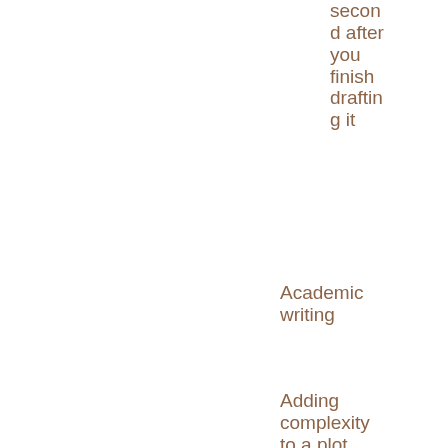second after you finish drafting it
Academic writing
Adding complexity to a plot
Advances and how they do (and don't) work
Advances
Is it okay to